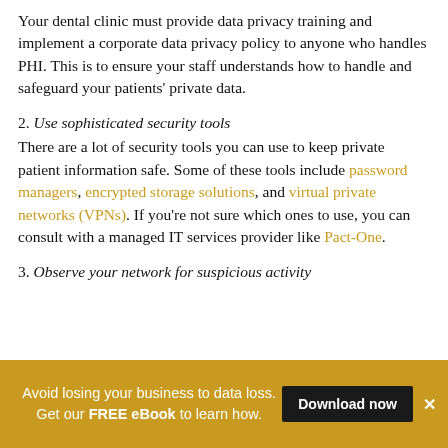Your dental clinic must provide data privacy training and implement a corporate data privacy policy to anyone who handles PHI. This is to ensure your staff understands how to handle and safeguard your patients' private data.
2. Use sophisticated security tools
There are a lot of security tools you can use to keep private patient information safe. Some of these tools include password managers, encrypted storage solutions, and virtual private networks (VPNs). If you're not sure which ones to use, you can consult with a managed IT services provider like Pact-One.
3. Observe your network for suspicious activity
Avoid losing your business to data loss. Get our FREE eBook to learn how.